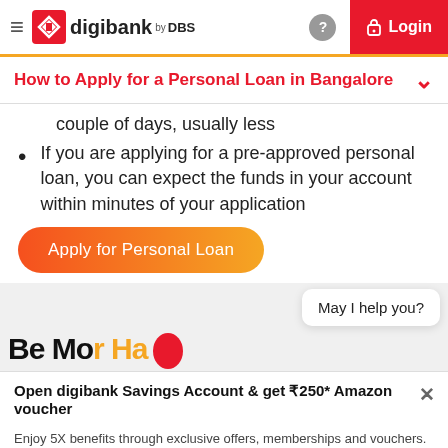digibank by DBS — Login
How to Apply for a Personal Loan in Bangalore
couple of days, usually less
If you are applying for a pre-approved personal loan, you can expect the funds in your account within minutes of your application
[Figure (other): Orange gradient CTA button labeled 'Apply for Personal Loan']
[Figure (other): Chat bubble saying 'May I help you?' over a gray section with partial bold text visible]
Open digibank Savings Account & get ₹250* Amazon voucher
Enjoy 5X benefits through exclusive offers, memberships and vouchers. *T&C Apply.